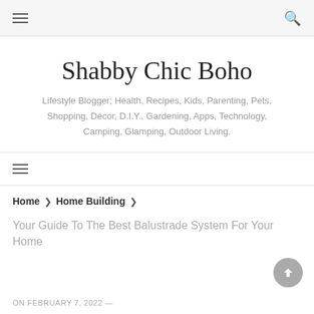Navigation bar with hamburger menu and search icon
Shabby Chic Boho
Lifestyle Blogger; Health, Recipes, Kids, Parenting, Pets, Shopping, Décor, D.I.Y., Gardening, Apps, Technology, Camping, Glamping, Outdoor Living.
Secondary navigation bar with hamburger menu
Home > Home Building >
Your Guide To The Best Balustrade System For Your Home
ON FEBRUARY 7, 2022 —
HOME BUILDING , HOME IMPROVEMENTS